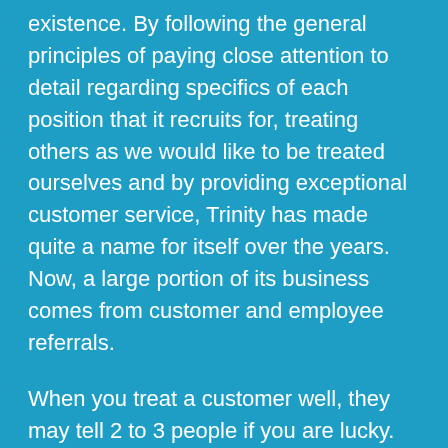existence. By following the general principles of paying close attention to detail regarding specifics of each position that it recruits for, treating others as we would like to be treated ourselves and by providing exceptional customer service, Trinity has made quite a name for itself over the years. Now, a large portion of its business comes from customer and employee referrals.
When you treat a customer well, they may tell 2 to 3 people if you are lucky. But if you do a poor job for them, it is common for them to tell as many as 20 to 100 depending on how bad the situation was. Trinity's growth has come from repeatedly doing a good job for customers over and over again and giving them an incentive to sharing their story and